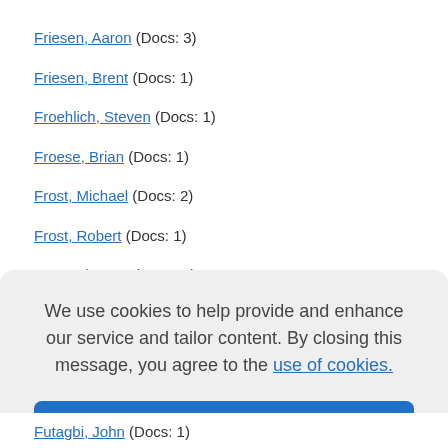Friesen, Aaron (Docs: 3)
Friesen, Brent (Docs: 1)
Froehlich, Steven (Docs: 1)
Froese, Brian (Docs: 1)
Frost, Michael (Docs: 2)
Frost, Robert (Docs: 1)
Frost, Thomas (Docs: 1)
We use cookies to help provide and enhance our service and tailor content. By closing this message, you agree to the use of cookies.
Futagbi, John (Docs: 1)